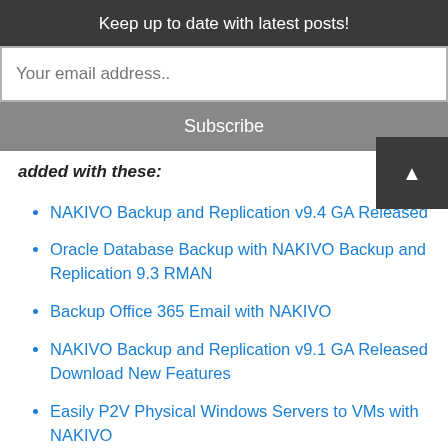Keep up to date with latest posts!
Your email address..
Subscribe
added with these:
NAKIVO Backup and Replication v9.4 GA Released
Oracle Database Backup with NAKIVO Backup and Replication 9.3 RMAN
Backup Office 365 Email with NAKIVO
NAKIVO Backup and Replication v9.1 GA Released Download New Features
Easily P2V Physical Windows Servers to VMs with NAKIVO
If you want to get your hands on the NAKIVO Backup &